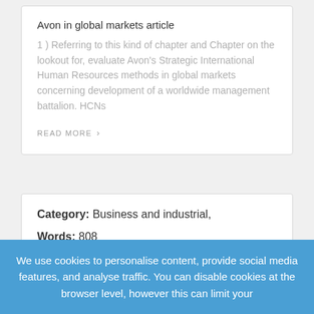Avon in global markets article
1 ) Referring to this kind of chapter and Chapter on the lookout for, evaluate Avon's Strategic International Human Resources methods in global markets concerning development of a worldwide management battalion. HCNs
READ MORE ›
Category: Business and industrial,
Words: 808
Published: 01.21.20
Views: 191
We use cookies to personalise content, provide social media features, and analyse traffic. You can disable cookies at the browser level, however this can limit your